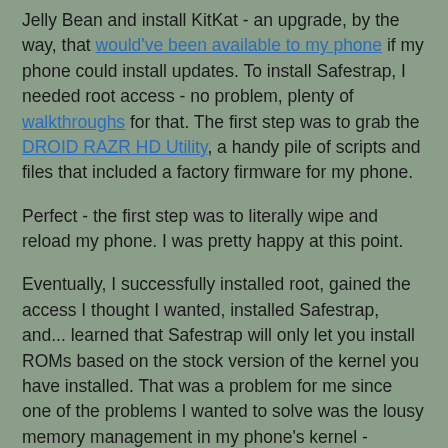Jelly Bean and install KitKat - an upgrade, by the way, that would've been available to my phone if my phone could install updates. To install Safestrap, I needed root access - no problem, plenty of walkthroughs for that. The first step was to grab the DROID RAZR HD Utility, a handy pile of scripts and files that included a factory firmware for my phone.
Perfect - the first step was to literally wipe and reload my phone. I was pretty happy at this point.
Eventually, I successfully installed root, gained the access I thought I wanted, installed Safestrap, and... learned that Safestrap will only let you install ROMs based on the stock version of the kernel you have installed. That was a problem for me since one of the problems I wanted to solve was the lousy memory management in my phone's kernel - despite having 1 GB of RAM and consistently having over 100 MB free, it would keep trying to page from the much slower flash memory. Since one of the big benefits of KitKat was "Project Svelte", Google's focus on a leaner, meaner kernel, I was really interested in getting off of the one my phone was